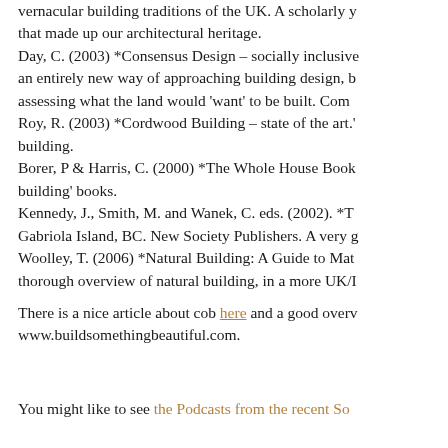vernacular building traditions of the UK. A scholarly y that made up our architectural heritage. Day, C. (2003) *Consensus Design – socially inclusive an entirely new way of approaching building design, b assessing what the land would 'want' to be built. Com Roy, R. (2003) *Cordwood Building – state of the art.' building. Borer, P & Harris, C. (2000) *The Whole House Book building' books. Kennedy, J., Smith, M. and Wanek, C. eds. (2002). *T Gabriola Island, BC. New Society Publishers. A very g Woolley, T. (2006) *Natural Building: A Guide to Mat thorough overview of natural building, in a more UK/I
There is a nice article about cob here and a good overv www.buildsomethingbeautiful.com.
You might like to see the Podcasts from the recent So